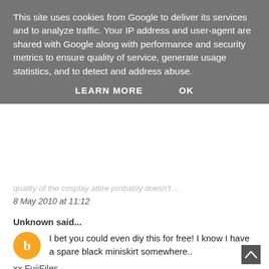This site uses cookies from Google to deliver its services and to analyze traffic. Your IP address and user-agent are shared with Google along with performance and security metrics to ensure quality of service, generate usage statistics, and to detect and address abuse.
LEARN MORE   OK
8 May 2010 at 11:12
Unknown said...
I bet you could even diy this for free! I know I have a spare black miniskirt somewhere..
xx FujiFiles
10 May 2010 at 04:44
Anonymous said...
Woo! Just a wonderful article! I think you must be interested in Anime Cosplay Costume! Nowadays, more and more Cosplay Sale and Cosplay Outfit online and in our daily life. People wear them to take part in all kinds of party and other activities. Search "Sell Cosplay" in google and other search engines and go to